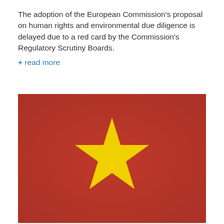The adoption of the European Commission's proposal on human rights and environmental due diligence is delayed due to a red card by the Commission's Regulatory Scrutiny Boards. + read more
[Figure (illustration): Vietnam national flag — red background with a large yellow five-pointed star centered on it.]